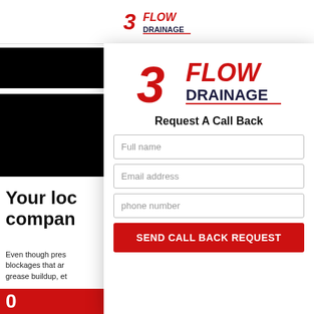[Figure (logo): 3 Flow Drainage logo in top header - red '3' with 'FLOW' in red bold and 'DRAINAGE' in dark navy bold]
[Figure (photo): Black image blocks on the left side of the page background]
Your loc company
Even though pres blockages that ar grease buildup, et
[Figure (logo): Large 3 Flow Drainage logo inside modal - red '3' with 'FLOW' in bold red italic and 'DRAINAGE' in dark navy bold underlined]
Request A Call Back
Full name
Email address
phone number
SEND CALL BACK REQUEST